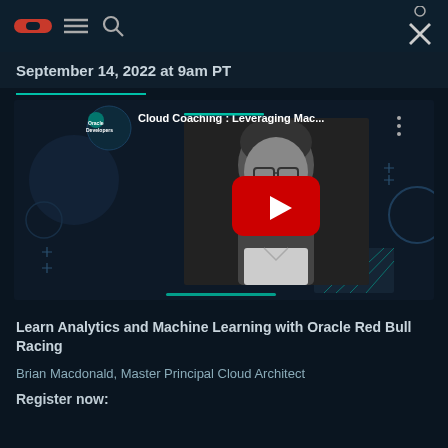Navigation bar with Oracle logo, menu, search icons and close button
September 14, 2022 at 9am PT
[Figure (screenshot): YouTube video thumbnail for 'Cloud Coaching : Leveraging Mac...' from Oracle Developers channel, showing a man with beard and glasses in black and white, with a red YouTube play button overlay. Dark teal background with geometric decorations.]
Learn Analytics and Machine Learning with Oracle Red Bull Racing
Brian Macdonald, Master Principal Cloud Architect
Register now: